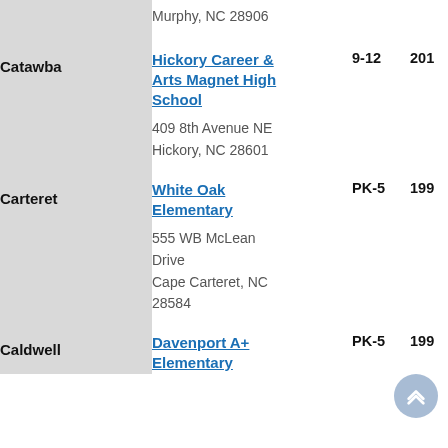| County | School | Grades | Year |
| --- | --- | --- | --- |
|  | Murphy, NC 28906 |  |  |
| Catawba | Hickory Career & Arts Magnet High School
409 8th Avenue NE
Hickory, NC 28601 | 9-12 | 201 |
| Carteret | White Oak Elementary
555 WB McLean Drive
Cape Carteret, NC 28584 | PK-5 | 199 |
| Caldwell | Davenport A+ Elementary | PK-5 | 199 |